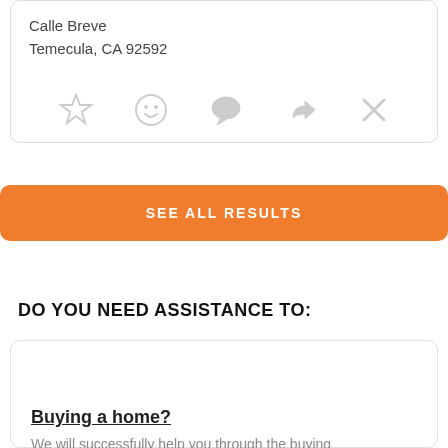Calle Breve
Temecula, CA 92592
[Figure (infographic): Row of 5 gray icons: star, smiley face, speech bubble, share arrow, and X (close)]
SEE ALL RESULTS
DO YOU NEED ASSISTANCE TO:
Buying a home?
We will successfully help you through the buying